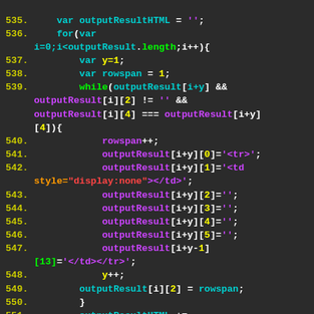[Figure (screenshot): Syntax-highlighted JavaScript code editor showing lines 535-555, featuring variable declarations, a for loop, while loop with conditions, array assignments, and HTML string manipulation on a dark background.]